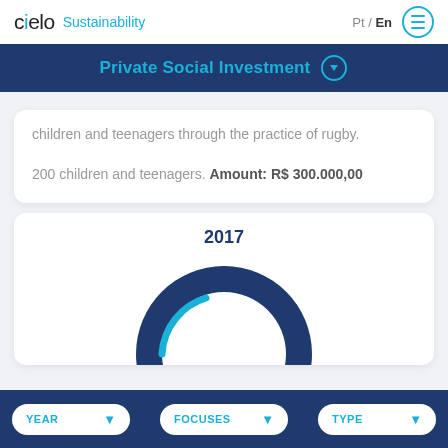cielo Sustainability  Pt / En
Private Social Investment
children and teenagers through the practice of rugby.
200 children and teenagers. Amount: R$ 300.000,00
2017
[Figure (donut-chart): Partial donut/arc chart showing a dark navy blue semicircle with a cyan/light blue arc indicator, year 2017]
YEAR   FOCUSES   TYPE